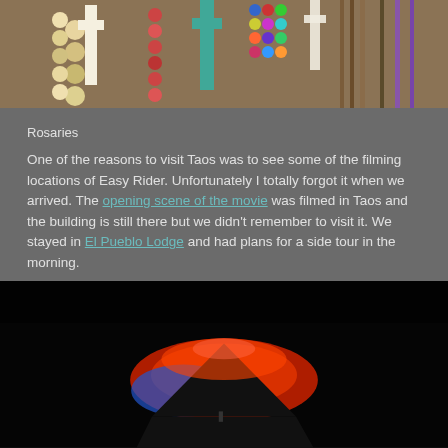[Figure (photo): Photo of colorful rosaries and crosses hanging together, with beads in various colors including yellow, white, teal, and multicolored strings against a rocky background.]
Rosaries
One of the reasons to visit Taos was to see some of the filming locations of Easy Rider. Unfortunately I totally forgot it when we arrived. The opening scene of the movie was filmed in Taos and the building is still there but we didn't remember to visit it. We stayed in El Pueblo Lodge and had plans for a side tour in the morning.
[Figure (photo): Night photo showing a dark scene with a red and blue illuminated structure or mountain silhouette against a black sky, possibly a church or rock formation lit with colored lights.]